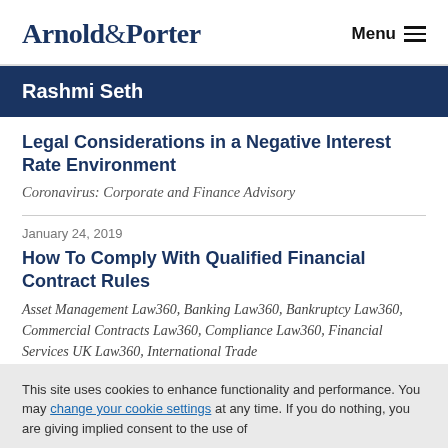Arnold & Porter | Menu
Rashmi Seth
Legal Considerations in a Negative Interest Rate Environment
Coronavirus: Corporate and Finance Advisory
January 24, 2019
How To Comply With Qualified Financial Contract Rules
Asset Management Law360, Banking Law360, Bankruptcy Law360, Commercial Contracts Law360, Compliance Law360, Financial Services UK Law360, International Trade
This site uses cookies to enhance functionality and performance. You may change your cookie settings at any time. If you do nothing, you are giving implied consent to the use of